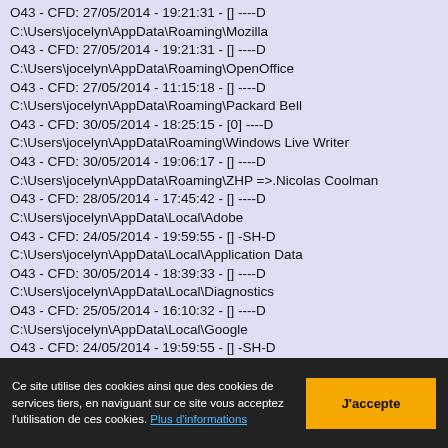O43 - CFD: 27/05/2014 - 19:21:31 - [] ----D C:\Users\jocelyn\AppData\Roaming\Mozilla
O43 - CFD: 27/05/2014 - 19:21:31 - [] ----D C:\Users\jocelyn\AppData\Roaming\OpenOffice
O43 - CFD: 27/05/2014 - 11:15:18 - [] ----D C:\Users\jocelyn\AppData\Roaming\Packard Bell
O43 - CFD: 30/05/2014 - 18:25:15 - [0] ----D C:\Users\jocelyn\AppData\Roaming\Windows Live Writer
O43 - CFD: 30/05/2014 - 19:06:17 - [] ----D C:\Users\jocelyn\AppData\Roaming\ZHP =>.Nicolas Coolman
O43 - CFD: 28/05/2014 - 17:45:42 - [] ----D C:\Users\jocelyn\AppData\Local\Adobe
O43 - CFD: 24/05/2014 - 19:59:55 - [] -SH-D C:\Users\jocelyn\AppData\Local\Application Data
O43 - CFD: 30/05/2014 - 18:39:33 - [] ----D C:\Users\jocelyn\AppData\Local\Diagnostics
O43 - CFD: 25/05/2014 - 16:10:32 - [] ----D C:\Users\jocelyn\AppData\Local\Google
O43 - CFD: 24/05/2014 - 19:59:55 - [] -SH-D C:\Users\jocelyn\AppData\Local\Historique
Ce site utilise des cookies ainsi que des cookies de services tiers, en naviguant sur ce site vous acceptez l'utilisation de ces cookies. Plus d'informations
J'accepte